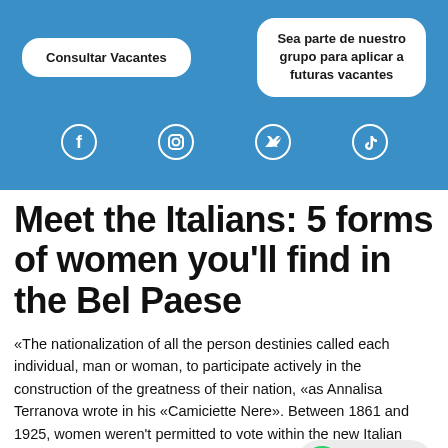[Figure (screenshot): Blue banner with two buttons: 'Consultar Vacantes' and 'Sea parte de nuestro grupo para aplicar a futuras vacantes', and four social media icons (Facebook, Instagram, Twitter, TikTok)]
Meet the Italians: 5 forms of women you'll find in the Bel Paese
«The nationalization of all the person destinies called each individual, man or woman, to participate actively in the construction of the greatness of their nation, «as Annalisa Terranova wrote in his «Camiciette Nere». Between 1861 and 1925, women weren't permitted to vote within the new Italian state. In 1864, Anna Maria Mozzoni triggere woman's movement in Italy by way of the publication of